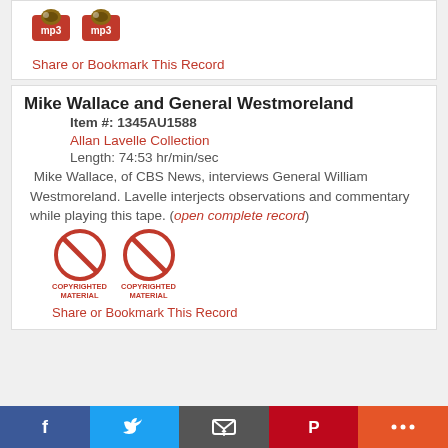[Figure (other): Two MP3 cannon/gun pixel art icons side by side]
Share or Bookmark This Record
Mike Wallace and General Westmoreland
Item #: 1345AU1588
Allan Lavelle Collection
Length: 74:53 hr/min/sec
Mike Wallace, of CBS News, interviews General William Westmoreland. Lavelle interjects observations and commentary while playing this tape. (open complete record)
[Figure (other): Two red circle with slash COPYRIGHTED MATERIAL icons side by side]
Share or Bookmark This Record
Facebook | Twitter | Email | Pinterest | More social sharing options